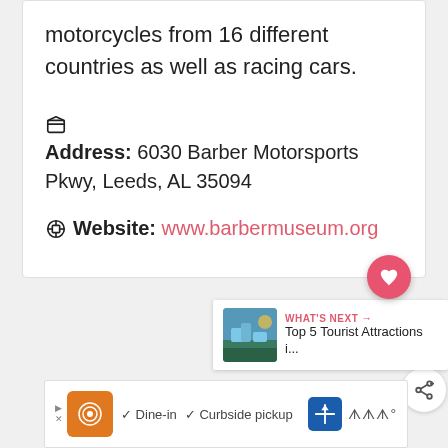motorcycles from 16 different countries as well as racing cars.
Address: 6030 Barber Motorsports Pkwy, Leeds, AL 35094
Website: www.barbermuseum.org
[Figure (screenshot): Heart/favourite button (pink circle with heart icon), share button with count badge showing 1, What's Next promo card for Top 5 Tourist Attractions, and an advertisement bar at the bottom.]